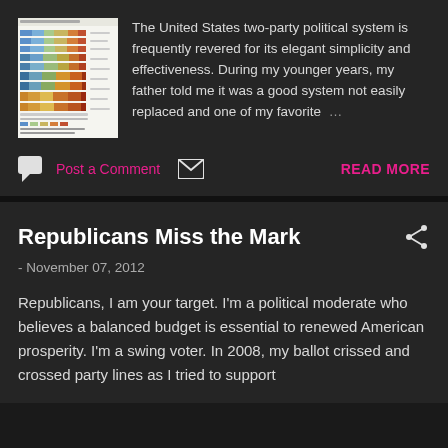[Figure (screenshot): Thumbnail image of a stacked bar chart showing political ideology distribution data]
The United States two-party political system is frequently revered for its elegant simplicity and effectiveness. During my younger years, my father told me it was a good system not easily replaced and one of my favorite …
Post a Comment
READ MORE
Republicans Miss the Mark
- November 07, 2012
Republicans, I am your target. I'm a political moderate who believes a balanced budget is essential to renewed American prosperity. I'm a swing voter. In 2008, my ballot crissed and crossed party lines as I tried to support